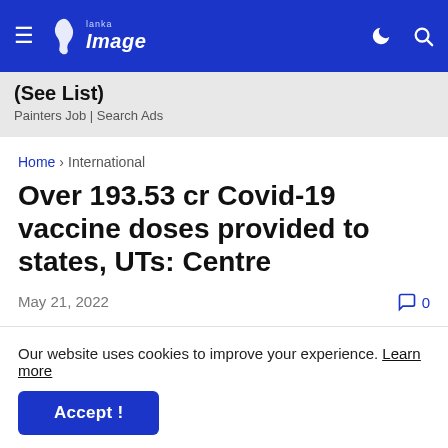Lanka Image — navigation header with hamburger menu, logo, dark mode icon, and search icon
(See List)
Painters Job | Search Ads
Home > International
Over 193.53 cr Covid-19 vaccine doses provided to states, UTs: Centre
May 21, 2022
0
Our website uses cookies to improve your experience. Learn more
Accept !